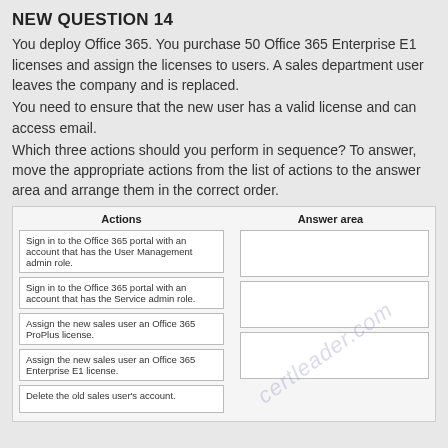NEW QUESTION 14
You deploy Office 365. You purchase 50 Office 365 Enterprise E1 licenses and assign the licenses to users. A sales department user leaves the company and is replaced.
You need to ensure that the new user has a valid license and can access email.
Which three actions should you perform in sequence? To answer, move the appropriate actions from the list of actions to the answer area and arrange them in the correct order.
| Actions | Answer area |
| --- | --- |
| Sign in to the Office 365 portal with an account that has the User Management admin role. |  |
| Sign in to the Office 365 portal with an account that has the Service admin role. |  |
| Assign the new sales user an Office 365 ProPlus license. |  |
| Assign the new sales user an Office 365 Enterprise E1 license. |  |
| Delete the old sales user's account. |  |